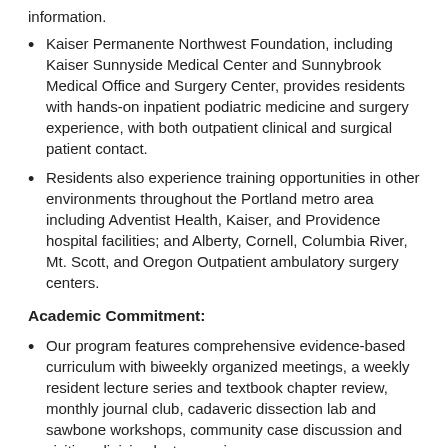information.
Kaiser Permanente Northwest Foundation, including Kaiser Sunnyside Medical Center and Sunnybrook Medical Office and Surgery Center, provides residents with hands-on inpatient podiatric medicine and surgery experience, with both outpatient clinical and surgical patient contact.
Residents also experience training opportunities in other environments throughout the Portland metro area including Adventist Health, Kaiser, and Providence hospital facilities; and Alberty, Cornell, Columbia River, Mt. Scott, and Oregon Outpatient ambulatory surgery centers.
Academic Commitment:
Our program features comprehensive evidence-based curriculum with biweekly organized meetings, a weekly resident lecture series and textbook chapter review, monthly journal club, cadaveric dissection lab and sawbone workshops, community case discussion and visiting clinician lecture series.
Extensive library resources, including Ovid, MD Consult and access to current literature from multiple medical libraries are available on every hospital computer at all locations.
in the development for the program's...